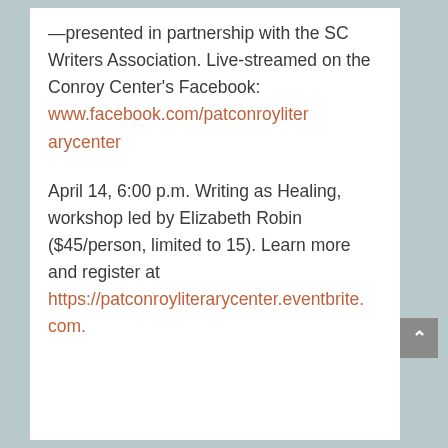—presented in partnership with the SC Writers Association. Live-streamed on the Conroy Center's Facebook: www.facebook.com/patconroyliterarycenter
April 14, 6:00 p.m. Writing as Healing, workshop led by Elizabeth Robin ($45/person, limited to 15). Learn more and register at https://patconroyliterarycenter.eventbrite.com.